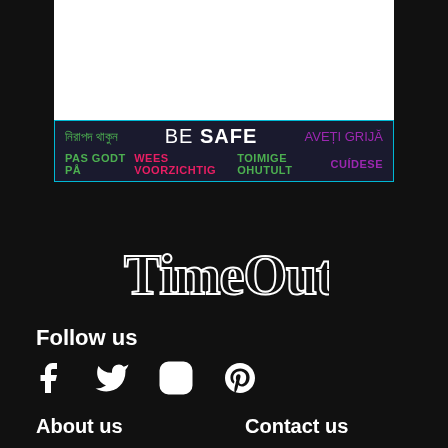[Figure (other): White advertisement banner area at top of page]
[Figure (other): Dark blue banner with multilingual 'BE SAFE' text in multiple languages and colors: Bengali (green), BE SAFE (white/large), AVETI GRIJA (purple), PAS GODT PA (green), WEES VOORZICHTIG (pink), TOIMIGE OHUTULT (green), CUIDESE (purple)]
[Figure (logo): Time Out logo in outlined/hollow serif font style on dark background]
Follow us
[Figure (other): Social media icons: Facebook, Twitter, Instagram, Pinterest]
About us
Contact us
Acknowledgement of Country
Editorial
Press office
Advertising
Investor relations
Report an error